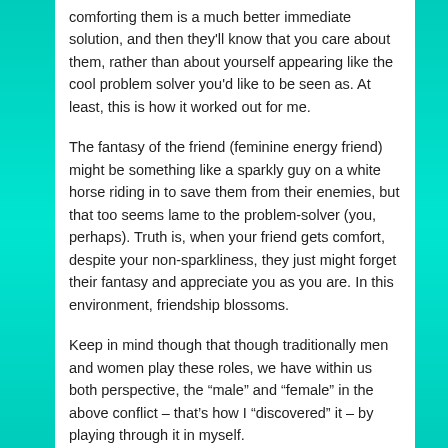comforting them is a much better immediate solution, and then they'll know that you care about them, rather than about yourself appearing like the cool problem solver you'd like to be seen as. At least, this is how it worked out for me.
The fantasy of the friend (feminine energy friend) might be something like a sparkly guy on a white horse riding in to save them from their enemies, but that too seems lame to the problem-solver (you, perhaps). Truth is, when your friend gets comfort, despite your non-sparkliness, they just might forget their fantasy and appreciate you as you are. In this environment, friendship blossoms.
Keep in mind though that though traditionally men and women play these roles, we have within us both perspective, the “male” and “female” in the above conflict – that’s how I “discovered” it – by playing through it in myself.
Posted in Insights | Tagged analysis, comforting, friends,